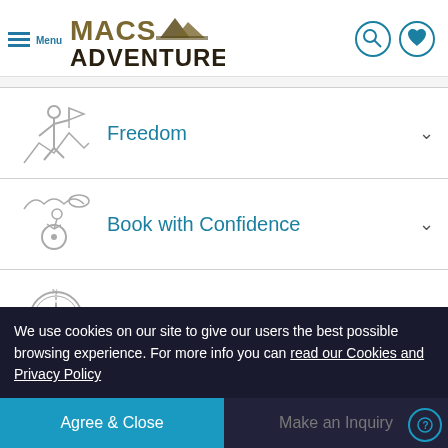Macs Adventure - Menu, Search, Wishlist
Freedom
Book with Confidence
Expertise
Positive Impact
We use cookies on our site to give our users the best possible browsing experience. For more info you can read our Cookies and Privacy Policy
Agree & Close
Make an Inquiry